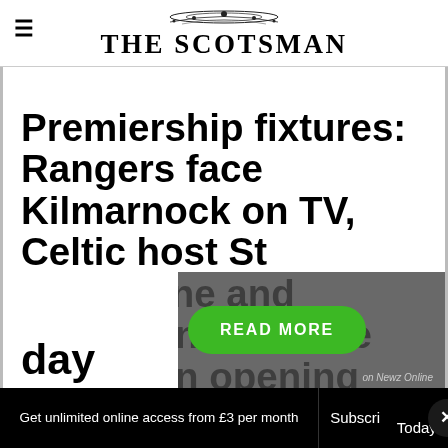THE SCOTSMAN
Premiership fixtures: Rangers face Kilmarnock on TV, Celtic host St Johnstone and Aberdeen welcome Hearts on opening day
READ MORE
on Newz Online
Get unlimited online access from £3 per month | Subscribe Today